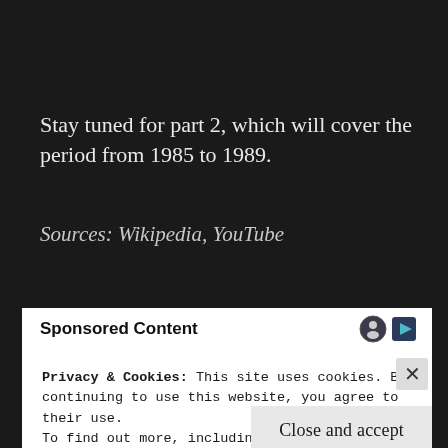Stay tuned for part 2, which will cover the period from 1985 to 1989.
Sources: Wikipedia, YouTube
Sponsored Content
Privacy & Cookies: This site uses cookies. By continuing to use this website, you agree to their use.
To find out more, including how to control cookies, see here:
Cookie Policy
Close and accept